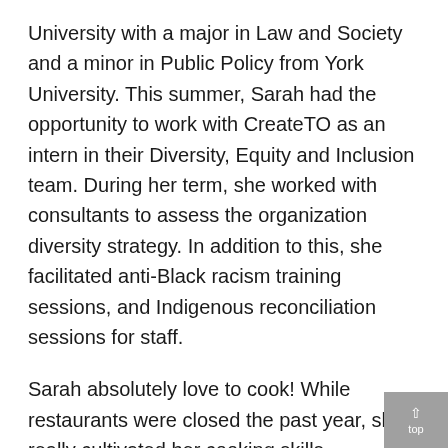University with a major in Law and Society and a minor in Public Policy from York University. This summer, Sarah had the opportunity to work with CreateTO as an intern in their Diversity, Equity and Inclusion team. During her term, she worked with consultants to assess the organization diversity strategy. In addition to this, she facilitated anti-Black racism training sessions, and Indigenous reconciliation sessions for staff.
Sarah absolutely love to cook! While restaurants were closed the past year, she really cultivated her cooking skills.
Joseph Oladimeji completed his undergraduate degree at Queen's University with a major in Psychology and a certificate in law. This summer, Joseph worked as a Diversity and Equity specialist with Critical Mass Art. He also worked with the Urban Alliance for Race Relation (UARR) as an Anti-